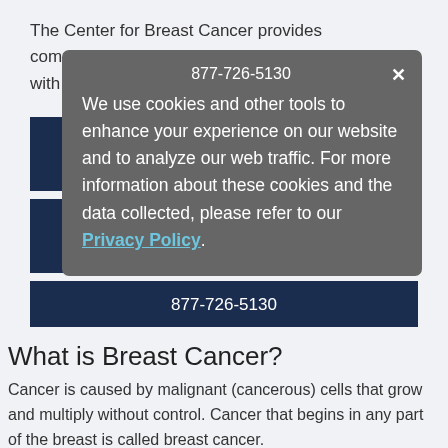The Center for Breast Cancer provides comprehensive, compassionate care for patients with any stage of breast cancer.
Learn more
Request an Appointment
877-726-5130
What is Breast Cancer?
Cancer is caused by malignant (cancerous) cells that grow and multiply without control. Cancer that begins in any part of the breast is called breast cancer.
We use cookies and other tools to enhance your experience on our website and to analyze our web traffic. For more information about these cookies and the data collected, please refer to our Privacy Policy.